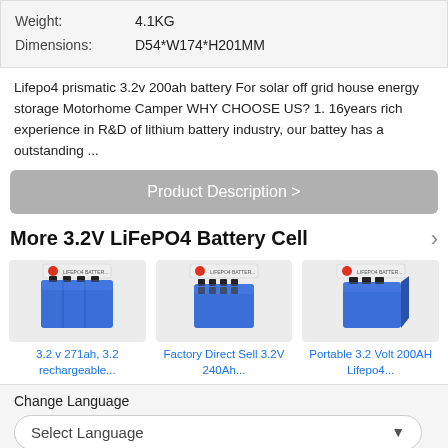| Weight: | 4.1KG |
| Dimensions: | D54*W174*H201MM |
Lifepo4 prismatic 3.2v 200ah battery For solar off grid house energy storage Motorhome Camper WHY CHOOSE US? 1. 16years rich experience in R&D of lithium battery industry, our battey has a outstanding ...
Product Description >
More 3.2V LiFePO4 Battery Cell
[Figure (photo): 3.2 v 271ah, 3.2 rechargeable... - blue LiFePO4 prismatic battery cell product image]
3.2 v 271ah, 3.2 rechargeable...
[Figure (photo): Factory Direct Sell 3.2V 240Ah... - blue LiFePO4 prismatic battery cell product image]
Factory Direct Sell 3.2V 240Ah...
[Figure (photo): Portable 3.2 Volt 200AH Lifepo4... - blue LiFePO4 prismatic battery cell product image]
Portable 3.2 Volt 200AH Lifepo4...
Change Language
Select Language
Call Us
Contact Supplier